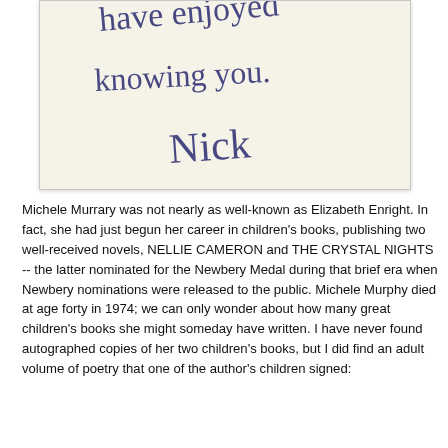[Figure (photo): A handwritten note on cream/off-white paper in blue ink reading: 'have enjoyed knowing you. Nick']
Michele Murrary was not nearly as well-known as Elizabeth Enright. In fact, she had just begun her career in children's books, publishing two well-received novels, NELLIE CAMERON and THE CRYSTAL NIGHTS -- the latter nominated for the Newbery Medal during that brief era when Newbery nominations were released to the public. Michele Murphy died at age forty in 1974; we can only wonder about how many great children's books she might someday have written. I have never found autographed copies of her two children's books, but I did find an adult volume of poetry that one of the author's children signed: